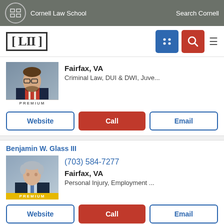Cornell Law School   Search Cornell
LII
[Figure (photo): Professional headshot of male attorney with glasses, dark suit and red tie, PREMIUM badge]
Fairfax, VA
Criminal Law, DUI & DWI, Juve...
Website | Call | Email
Benjamin W. Glass III
[Figure (photo): Professional headshot of Benjamin W. Glass III, older male attorney with silver hair, dark suit, PREMIUM badge]
(703) 584-7277
Fairfax, VA
Personal Injury, Employment ...
Website | Call | Email